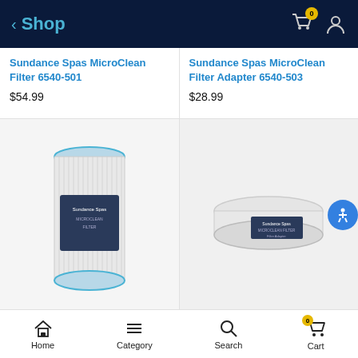Shop
Sundance Spas MicroClean Filter 6540-501
$54.99
Sundance Spas MicroClean Filter Adapter 6540-503
$28.99
[Figure (photo): Sundance Spas MicroClean Filter 6540-501 cylindrical pool/spa filter with blue top rim and white pleated filter media, shown in packaging]
[Figure (photo): Sundance Spas MicroClean Filter Adapter 6540-503 round flat disc-shaped filter adapter in white plastic packaging with label]
Home   Category   Search   Cart